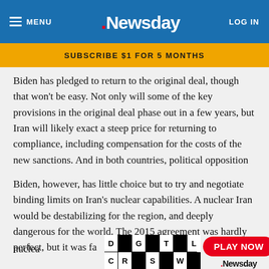MENU | Newsday | LOG IN
SUBSCRIBE $1 FOR 5 MONTHS
Biden has pledged to return to the original deal, though that won't be easy. Not only will some of the key provisions in the original deal phase out in a few years, but Iran will likely exact a steep price for returning to compliance, including compensation for the costs of the new sanctions. And in both countries, political opposition to returning to the deal is bound to intensify.
Biden, however, has little choice but to try and negotiate binding limits on Iran's nuclear capabilities. A nuclear Iran would be destabilizing for the region, and deeply dangerous for the world. The 2015 agreement was hardly perfect, but it was fa... nuclea...
[Figure (infographic): Digital Crossword advertisement with black and white checkerboard grid spelling DIGITAL CROSSWORD, and a red PLAY NOW button with Newsday logo]